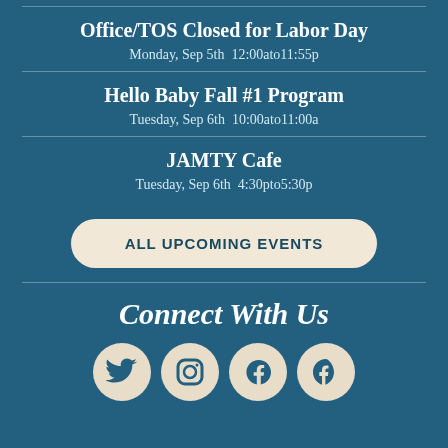Office/TOS Closed for Labor Day
Monday, Sep 5th  12:00ato11:55p
Hello Baby Fall #1 Program
Tuesday, Sep 6th  10:00ato11:00a
JAMTY Cafe
Tuesday, Sep 6th  4:30pto5:30p
ALL UPCOMING EVENTS
Connect With Us